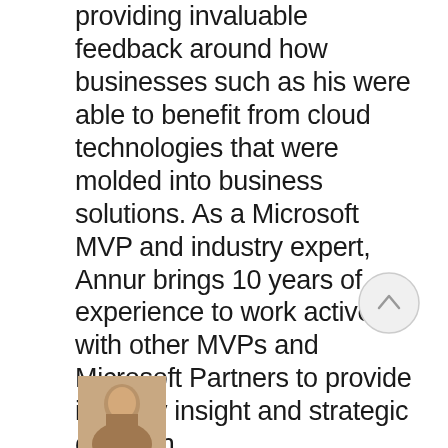providing invaluable feedback around how businesses such as his were able to benefit from cloud technologies that were molded into business solutions. As a Microsoft MVP and industry expert, Annur brings 10 years of experience to work actively with other MVPs and Microsoft Partners to provide industry insight and strategic direction.
[Figure (photo): A portrait photo of a person, partially visible at the bottom of the page]